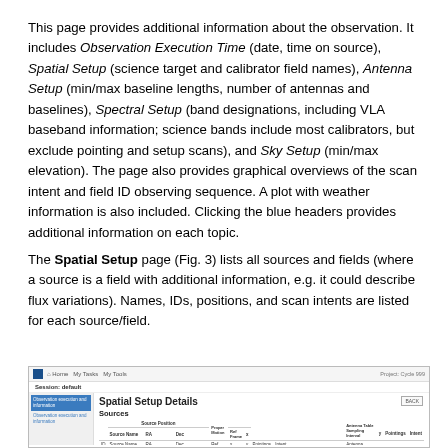This page provides additional information about the observation. It includes Observation Execution Time (date, time on source), Spatial Setup (science target and calibrator field names), Antenna Setup (min/max baseline lengths, number of antennas and baselines), Spectral Setup (band designations, including VLA baseband information; science bands include most calibrators, but exclude pointing and setup scans), and Sky Setup (min/max elevation). The page also provides graphical overviews of the scan intent and field ID observing sequence. A plot with weather information is also included. Clicking the blue headers provides additional information on each topic.
The Spatial Setup page (Fig. 3) lists all sources and fields (where a source is a field with additional information, e.g. it could describe flux variations). Names, IDs, positions, and scan intents are listed for each source/field.
[Figure (screenshot): Screenshot of the Spatial Setup Details page showing a table of Sources with columns: ID, Source Name, RA, Dec, Ref Frame, x, y, Pointings, Intent, Antenna Table Sampling Interval.]